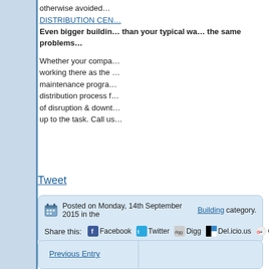otherwise avoided…
DISTRIBUTION CEN…
Even bigger buildin… than your typical wa… the same problems…
Whether your compa… working there as the … maintenance progra… distribution process f… of disruption & downt… up to the task. Call us…
Tweet
Posted on Monday, 14th September 2015 in the Building category.
Share this: Facebook Twitter Digg Del.icio.us Google Pri…
Previous Entry